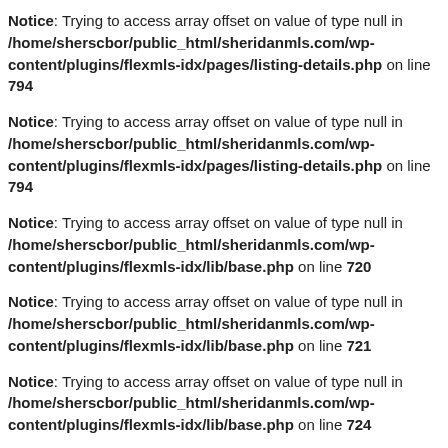Notice: Trying to access array offset on value of type null in /home/sherscbor/public_html/sheridanmls.com/wp-content/plugins/flexmls-idx/pages/listing-details.php on line 794
Notice: Trying to access array offset on value of type null in /home/sherscbor/public_html/sheridanmls.com/wp-content/plugins/flexmls-idx/pages/listing-details.php on line 794
Notice: Trying to access array offset on value of type null in /home/sherscbor/public_html/sheridanmls.com/wp-content/plugins/flexmls-idx/lib/base.php on line 720
Notice: Trying to access array offset on value of type null in /home/sherscbor/public_html/sheridanmls.com/wp-content/plugins/flexmls-idx/lib/base.php on line 721
Notice: Trying to access array offset on value of type null in /home/sherscbor/public_html/sheridanmls.com/wp-content/plugins/flexmls-idx/lib/base.php on line 724
Notice: Trying to access array offset on value of type null in /home/sherscbor/public_html/sheridanmls.com/wp-content/plugins/flexmls-idx/lib/base.php